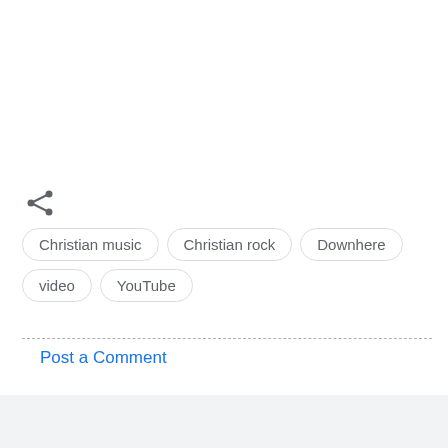[Figure (other): Share icon (less-than style arrow with three dots)]
Christian music
Christian rock
Downhere
video
YouTube
Post a Comment
Popular posts from this blog